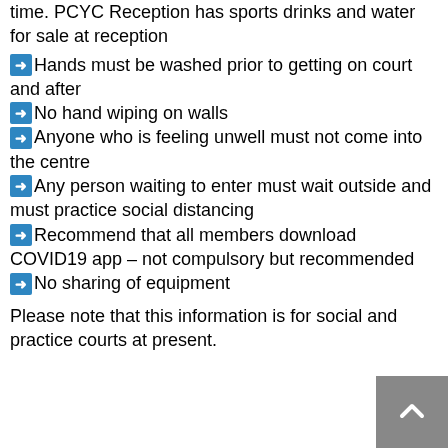time. PCYC Reception has sports drinks and water for sale at reception
Hands must be washed prior to getting on court and after
No hand wiping on walls
Anyone who is feeling unwell must not come into the centre
Any person waiting to enter must wait outside and must practice social distancing
Recommend that all members download COVID19 app – not compulsory but recommended
No sharing of equipment
Please note that this information is for social and practice courts at present.